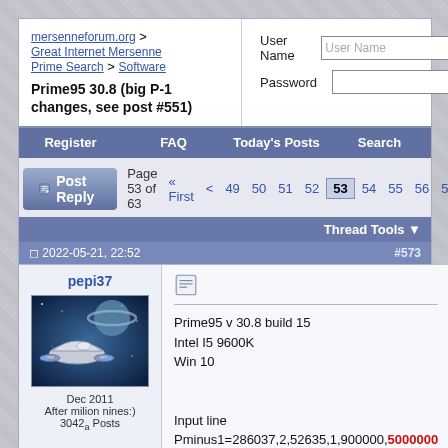mersenneforum.org > Great Internet Mersenne Prime Search > Software
Prime95 30.8 (big P-1 changes, see post #551)
User Name | Password | Remember Me? | Log in
Register | FAQ | Today's Posts | Search
Post Reply | Page 53 of 63 | « First | < | 49 | 50 | 51 | 52 | 53 | 54 | 55 | 56 | 57
Thread Tools
2022-05-21, 22:52  #573
pepi37
Dec 2011
After milion nines:)
3042a Posts
Prime95 v 30.8 build 15
Intel I5 9600K
Win 10

Input line
Pminus1=286037,2,52635,1,900000,5000000
Output result
286037*2^52635+1 completed P-1, B1=900000, B2=24612017430, Wi4:
BA8DE2BA